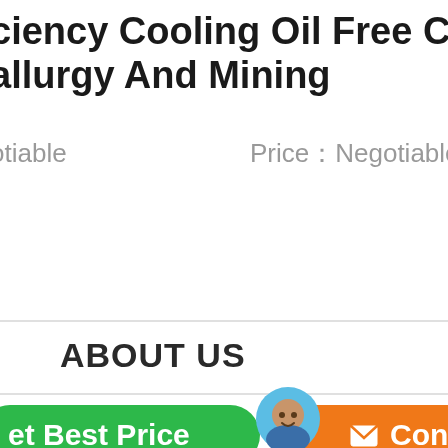ciency Cooling Oil Free Compre allurgy And Mining
otiable   Price：Negotiable
[Figure (screenshot): Green 'Get Best Price' button and orange 'Contact' button with a chat bubble overlay labeled 'Chat Now']
ABOUT US
Shanghai